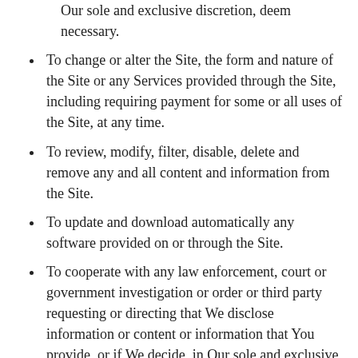Our sole and exclusive discretion, deem necessary.
To change or alter the Site, the form and nature of the Site or any Services provided through the Site, including requiring payment for some or all uses of the Site, at any time.
To review, modify, filter, disable, delete and remove any and all content and information from the Site.
To update and download automatically any software provided on or through the Site.
To cooperate with any law enforcement, court or government investigation or order or third party requesting or directing that We disclose information or content or information that You provide, or if We decide, in Our sole and exclusive discretion, that such disclosure is in Our best interests or Our Customer’s best interests.
To display advertising and promotions, which may be targeted to certain users or sections of the Site based